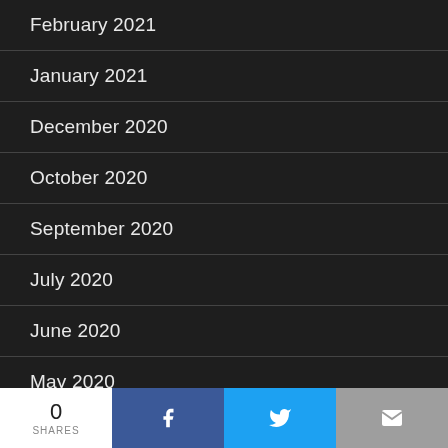February 2021
January 2021
December 2020
October 2020
September 2020
July 2020
June 2020
May 2020
April 2020
February 2020
0 SHARES | Facebook | Twitter | Email